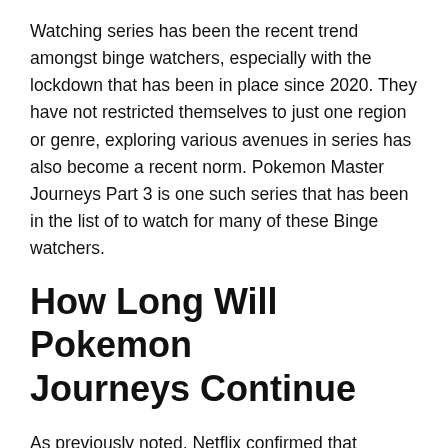Watching series has been the recent trend amongst binge watchers, especially with the lockdown that has been in place since 2020. They have not restricted themselves to just one region or genre, exploring various avenues in series has also become a recent norm. Pokemon Master Journeys Part 3 is one such series that has been in the list of to watch for many of these Binge watchers.
How Long Will Pokemon Journeys Continue
As previously noted, Netflix confirmed that Pokemon Journeys Episode 48 was the ending of the previous season. Each new Pokemon season tends to have around 50 episodes. For example, Pokemon XYZ had 47 episodes, while